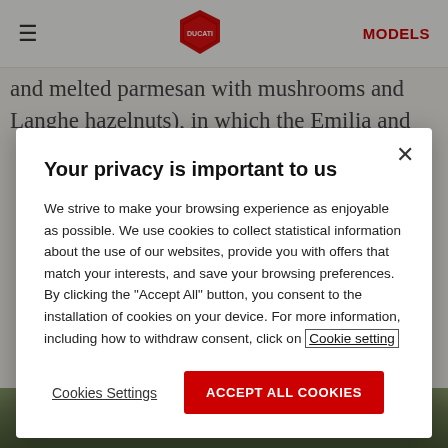miss the "ravioli pizzicati ripieni di cipolla e
[Figure (logo): Ducati logo - red shield shape with Ducati text, navigation bar with hamburger menu and MODELS link]
and melted parmesan with mushrooms and Langhe hazelnuts), in which the Emilia and
Your privacy is important to us
We strive to make your browsing experience as enjoyable as possible. We use cookies to collect statistical information about the use of our websites, provide you with offers that match your interests, and save your browsing preferences. By clicking the "Accept All" button, you consent to the installation of cookies on your device. For more information, including how to withdraw consent, click on Cookie setting
Cookies Settings
ACCEPT ALL COOKIES